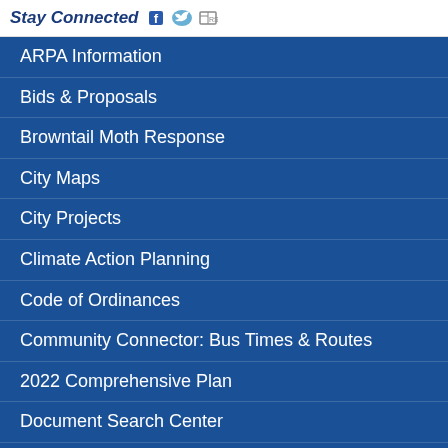Stay Connected
ARPA Information
Bids & Proposals
Browntail Moth Response
City Maps
City Projects
Climate Action Planning
Code of Ordinances
Community Connector: Bus Times & Routes
2022 Comprehensive Plan
Document Search Center
Doing Business in Bangor
Employment